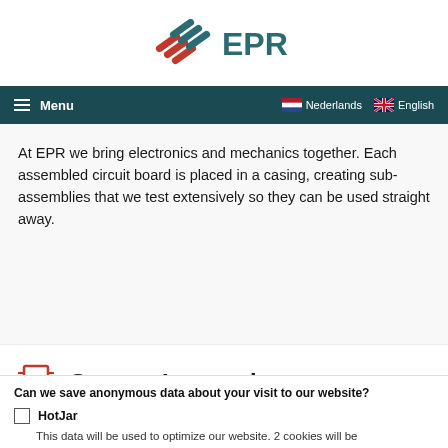[Figure (logo): EPR logo with red and teal diagonal stripes icon and EPR text in teal]
≡ Menu | Nederlands | English
At EPR we bring electronics and mechanics together. Each assembled circuit board is placed in a casing, creating sub-assemblies that we test extensively so they can be used straight away.
[Figure (illustration): Red circuit board / system integration icon]
System Integration
EPR builds the entire product for you. We
Can we save anonymous data about your visit to our website?
HotJar — This data will be used to optimize our website. 2 cookies will be